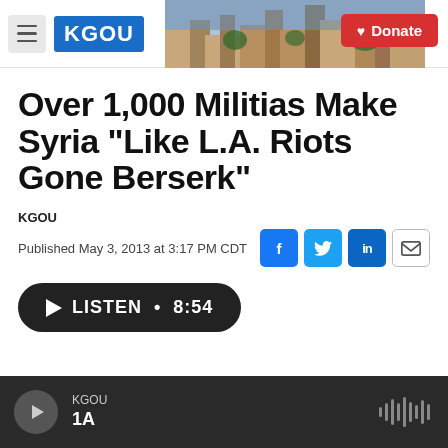KGOU — Donate
Over 1,000 Militias Make Syria "Like L.A. Riots Gone Berserk"
KGOU
Published May 3, 2013 at 3:17 PM CDT
LISTEN • 8:54
KGOU — 1A